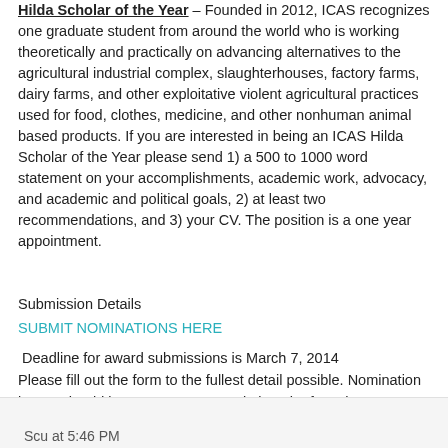Hilda Scholar of the Year – Founded in 2012, ICAS recognizes one graduate student from around the world who is working theoretically and practically on advancing alternatives to the agricultural industrial complex, slaughterhouses, factory farms, dairy farms, and other exploitative violent agricultural practices used for food, clothes, medicine, and other nonhuman animal based products. If you are interested in being an ICAS Hilda Scholar of the Year please send 1) a 500 to 1000 word statement on your accomplishments, academic work, advocacy, and academic and political goals, 2) at least two recommendations, and 3) your CV. The position is a one year appointment.
Submission Details
SUBMIT NOMINATIONS HERE
Deadline for award submissions is March 7, 2014
Please fill out the form to the fullest detail possible. Nomination letters should be one to two pages in length. If you have any questions please don't hesitate to contact us.
Scu at 5:46 PM